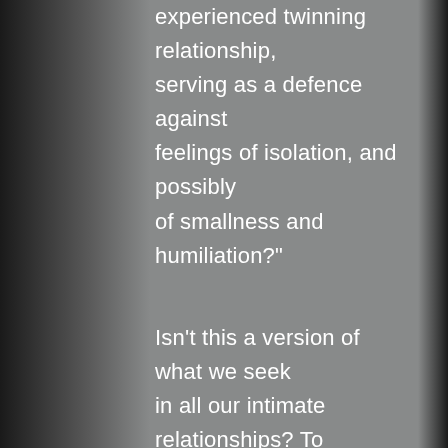experienced twinning relationship, serving as a defence against feelings of isolation, and possibly of smallness and humiliation?"
Isn't this a version of what we seek in all our intimate relationships? To see and be seen back? This is a defining characteristic of our narcissistic modes: they are, by definition, interpersonal. (By contrast, paranoia, obsessiveness, depression — these are all solo, internal defensive projects.) And so it is vital to look at the longing that fuels narcissism, because that will help us answer the question